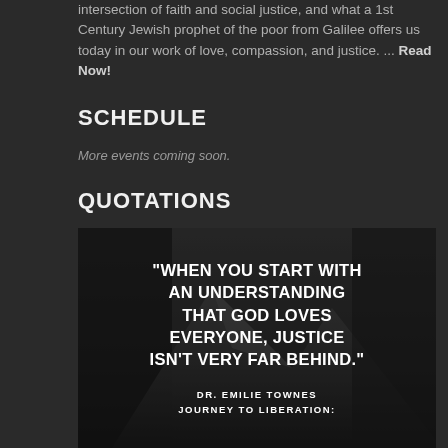intersection of faith and social justice, and what a 1st Century Jewish prophet of the poor from Galilee offers us today in our work of love, compassion, and justice. ... Read Now!
SCHEDULE
More events coming soon.
QUOTATIONS
[Figure (illustration): Inspirational quote image with mountain background. Text reads: "WHEN YOU START WITH AN UNDERSTANDING THAT GOD LOVES EVERYONE, JUSTICE ISN'T VERY FAR BEHIND." Attribution: DR. EMILIE TOWNES / JOURNEY TO LIBERATION:]